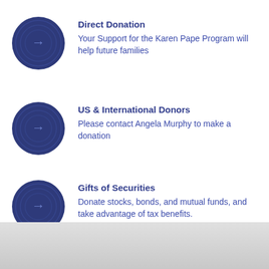Direct Donation
Your Support for the Karen Pape Program will help future families
US & International Donors
Please contact Angela Murphy to make a donation
Gifts of Securities
Donate stocks, bonds, and mutual funds, and take advantage of tax benefits.